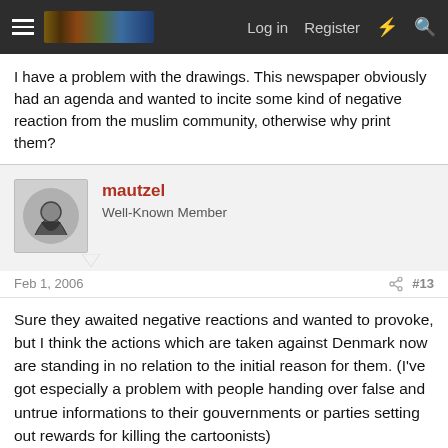Log in  Register
I have a problem with the drawings. This newspaper obviously had an agenda and wanted to incite some kind of negative reaction from the muslim community, otherwise why print them?
mautzel
Well-Known Member
Feb 1, 2006   #13
Sure they awaited negative reactions and wanted to provoke, but I think the actions which are taken against Denmark now are standing in no relation to the initial reason for them. (I've got especially a problem with people handing over false and untrue informations to their gouvernments or parties setting out rewards for killing the cartoonists)
///M
Well-Known Member